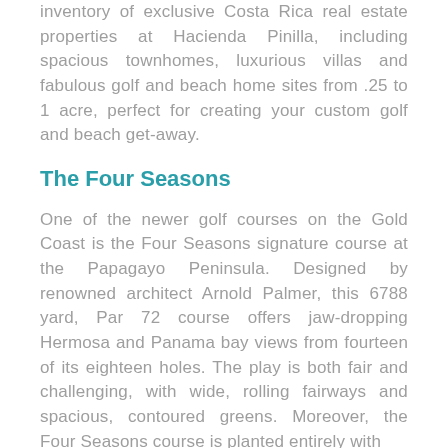inventory of exclusive Costa Rica real estate properties at Hacienda Pinilla, including spacious townhomes, luxurious villas and fabulous golf and beach home sites from .25 to 1 acre, perfect for creating your custom golf and beach get-away.
The Four Seasons
One of the newer golf courses on the Gold Coast is the Four Seasons signature course at the Papagayo Peninsula. Designed by renowned architect Arnold Palmer, this 6788 yard, Par 72 course offers jaw-dropping Hermosa and Panama bay views from fourteen of its eighteen holes. The play is both fair and challenging, with wide, rolling fairways and spacious, contoured greens. Moreover, the Four Seasons course is planted entirely with